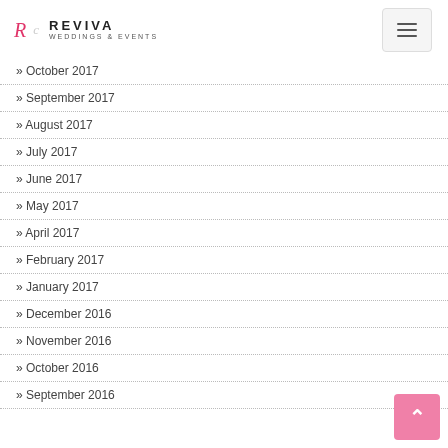REVIVA WEDDINGS & EVENTS
October 2017
September 2017
August 2017
July 2017
June 2017
May 2017
April 2017
February 2017
January 2017
December 2016
November 2016
October 2016
September 2016